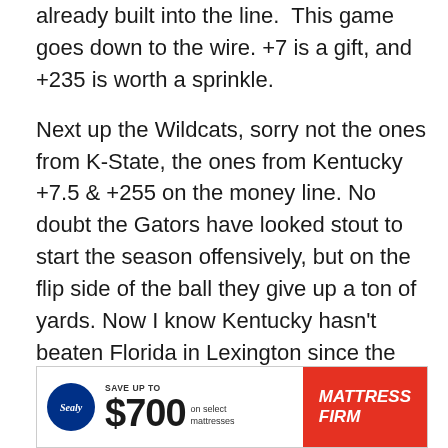already built into the line.  This game goes down to the wire. +7 is a gift, and +235 is worth a sprinkle.
Next up the Wildcats, sorry not the ones from K-State, the ones from Kentucky +7.5 & +255 on the money line. No doubt the Gators have looked stout to start the season offensively, but on the flip side of the ball they give up a ton of yards. Now I know Kentucky hasn't beaten Florida in Lexington since the 60's, but hey, that's never stopped me from considering a team before. Take the better defense plus the points here. The Wildcats have a good shot to spring the upset at home.
[Figure (other): Mattress Firm advertisement banner: Sealy logo, 'SAVE UP TO $700 on select mattresses', Mattress Firm red logo box]
There ... ke a